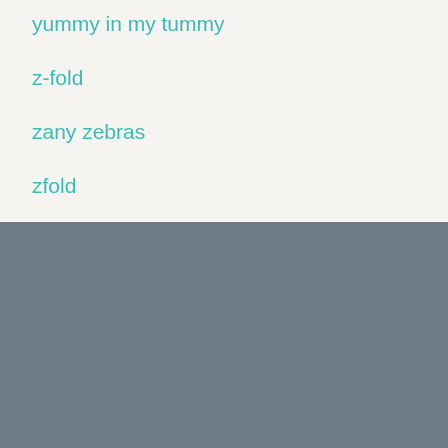yummy in my tummy
z-fold
zany zebras
zfold
Links
Home
About Us
Events
Shop Catalog
Shop Discontinued Items
Join My Team